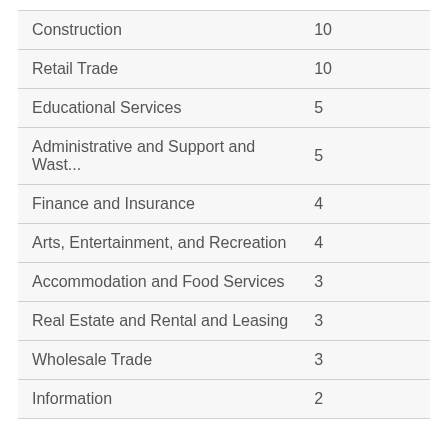| Category | Value |
| --- | --- |
| Construction | 10 |
| Retail Trade | 10 |
| Educational Services | 5 |
| Administrative and Support and Wast... | 5 |
| Finance and Insurance | 4 |
| Arts, Entertainment, and Recreation | 4 |
| Accommodation and Food Services | 3 |
| Real Estate and Rental and Leasing | 3 |
| Wholesale Trade | 3 |
| Information | 2 |